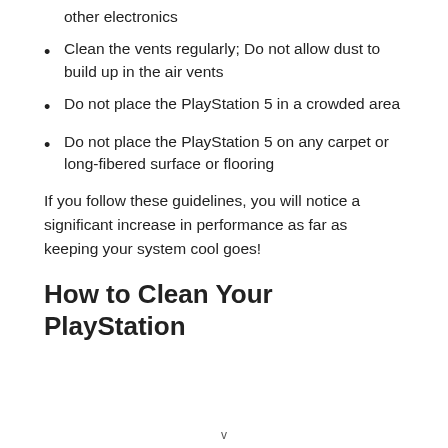other electronics
Clean the vents regularly; Do not allow dust to build up in the air vents
Do not place the PlayStation 5 in a crowded area
Do not place the PlayStation 5 on any carpet or long-fibered surface or flooring
If you follow these guidelines, you will notice a significant increase in performance as far as keeping your system cool goes!
How to Clean Your PlayStation
v